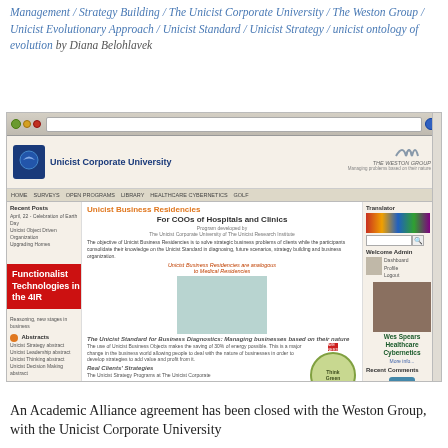Management / Strategy Building / The Unicist Corporate University / The Weston Group / Unicist Evolutionary Approach / Unicist Standard / Unicist Strategy / unicist ontology of evolution by Diana Belohlavek
[Figure (screenshot): Screenshot of the Unicist Corporate University website showing a webpage with the header 'Unicist Business Residencies - For COOs of Hospitals and Clinics', left sidebar with Recent Posts and Abstracts, right sidebar with Translator and Welcome Admin sections, and a red badge reading 'Functionalist Technologies in the 4IR'. Also shows a 'Save Energy' circular badge and a person's photo labeled 'Wes Spears Healthcare Cybernetics'.]
An Academic Alliance agreement has been closed with the Weston Group, with the Unicist Corporate University